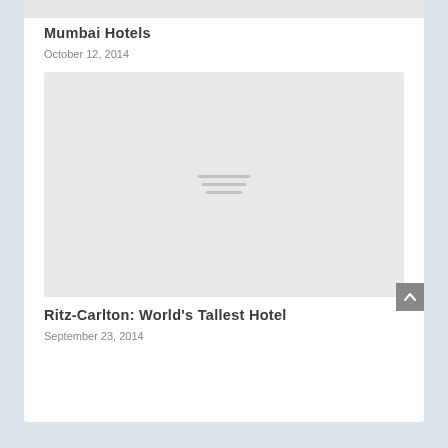[Figure (other): Grey placeholder image stub at top of card]
Mumbai Hotels
October 12, 2014
[Figure (other): Grey placeholder image with hamburger icon lines for Ritz-Carlton article]
Ritz-Carlton: World’s Tallest Hotel
September 23, 2014